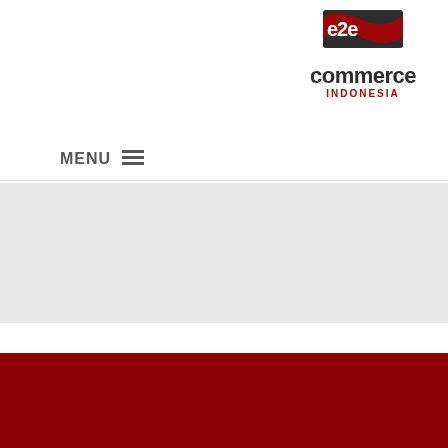[Figure (logo): e2e commerce Indonesia logo with stylized e2e icon above the text 'commerce' in dark gray and 'INDONESIA' in red, top right]
MENU ☰
[Figure (other): Gray banner/hero image area]
Coming Soon
[Figure (other): Dark red footer bar at the bottom of the page]